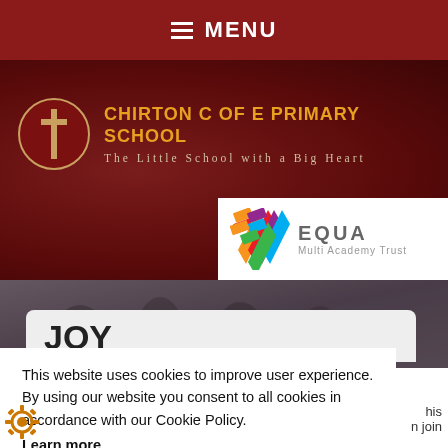MENU
CHIRTON C OF E PRIMARY SCHOOL
The Little School with a Big Heart
[Figure (logo): EQUA Multi Academy Trust logo with colourful chevron/arrow mark]
[Figure (photo): Photograph of children in winter clothing at a school event]
JOY
This website uses cookies to improve user experience. By using our website you consent to all cookies in accordance with our Cookie Policy. Learn more
DECLINE
ACCEPT